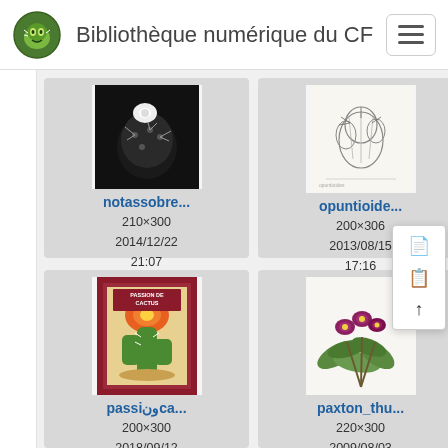Bibliothèque numérique du CF
[Figure (screenshot): Grid of document thumbnails from digital library. Row 1: notassobre... (210×300, 2014/12/22 21:07, 21 KB), opuntioide... (200×306, 2013/08/15 17:16, 33.6 KB), parodi... (partially visible). Row 2: passionca... (200×300, 2018/09/12 17:12, 17.4 KB), paxton_thu... (220×300, 2009/08/03 12:14, 18.7 KB), phpp... (partially visible, 32..., 2007..., 16...).]